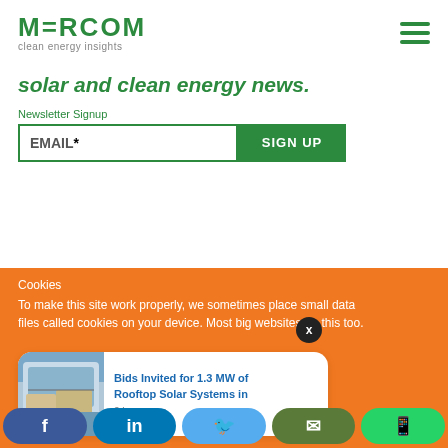MERCOM clean energy insights
solar and clean energy news.
Newsletter Signup
EMAIL *  SIGN UP
Cookies
To make this site work properly, we sometimes place small data files called cookies on your device. Most big websites do this too.
Bids Invited for 1.3 MW of Rooftop Solar Systems in
3 hours ago